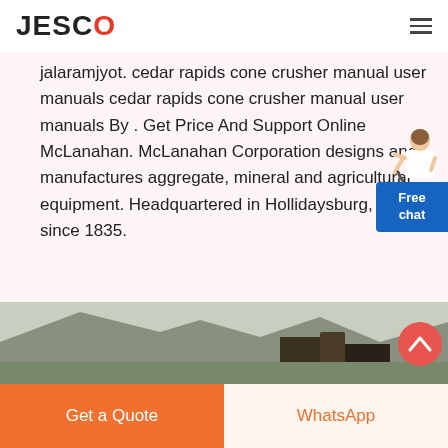JESCO
jalaramjyot. cedar rapids cone crusher manual user manuals cedar rapids cone crusher manual user manuals By . Get Price And Support Online McLanahan. McLanahan Corporation designs and manufactures aggregate, mineral and agricultural equipment. Headquartered in Hollidaysburg, PA USA since 1835.
[Figure (illustration): Free chat widget with person illustration and blue background button]
READ MORE →
[Figure (photo): Landscape photograph showing rocky hillside and dark structures]
Get a Quote
WhatsApp